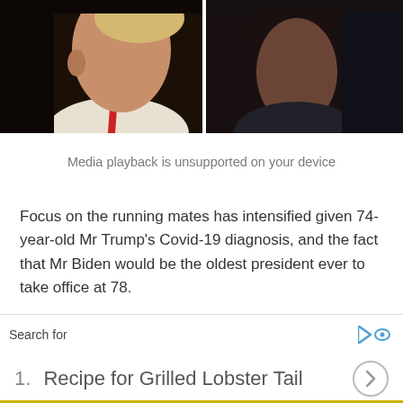[Figure (photo): Two side-by-side photos of political figures (silhouette/profile views against dark background), left figure appears to be Trump, right figure appears to be Kamala Harris]
Media playback is unsupported on your device
Focus on the running mates has intensified given 74-year-old Mr Trump’s Covid-19 diagnosis, and the fact that Mr Biden would be the oldest president ever to take office at 78.
But when asked by the debate moderator about the chances of them taking over the presidency, both
Search for
1.  Recipe for Grilled Lobster Tail